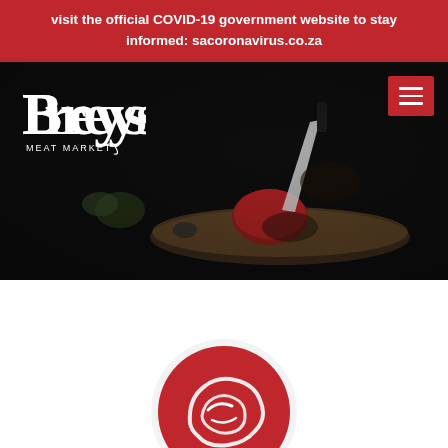visit the official COVID-19 government website to stay informed: sacoronavirus.co.za
[Figure (photo): Dark background hero image of a butcher cutting a thick red meat steak on a wooden cutting board with a large chef's knife. Herbs and other kitchen items visible in the background.]
[Figure (logo): Breys Meat Market logo in white text on dark/transparent background, with stylized B and cursive flourish element.]
[Figure (illustration): Red circular icon with white outline of a beef/steak cut, partially visible at bottom of page.]